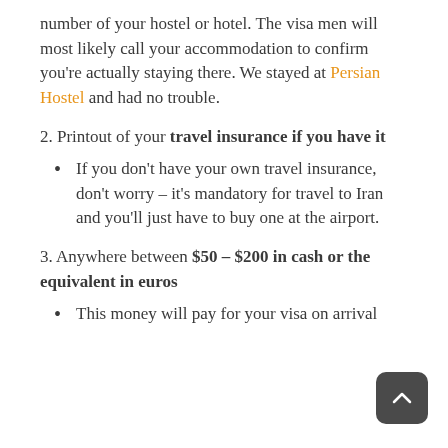number of your hostel or hotel. The visa men will most likely call your accommodation to confirm you're actually staying there. We stayed at Persian Hostel and had no trouble.
2. Printout of your travel insurance if you have it
If you don't have your own travel insurance, don't worry – it's mandatory for travel to Iran and you'll just have to buy one at the airport.
3. Anywhere between $50 – $200 in cash or the equivalent in euros
This money will pay for your visa on arrival